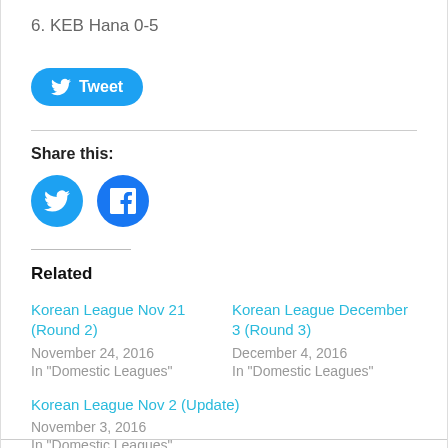6. KEB Hana 0-5
[Figure (other): Twitter Tweet button (rounded rectangle, blue background with bird icon and 'Tweet' text)]
Share this:
[Figure (other): Social share icons: Twitter (blue circle with bird) and Facebook (blue circle with f logo)]
Related
Korean League Nov 21 (Round 2)
November 24, 2016
In "Domestic Leagues"
Korean League December 3 (Round 3)
December 4, 2016
In "Domestic Leagues"
Korean League Nov 2 (Update)
November 3, 2016
In "Domestic Leagues"